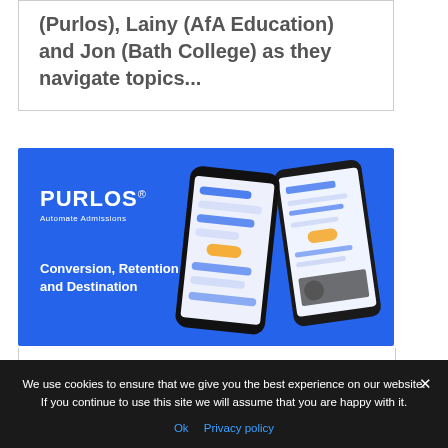(Purlos), Lainy (AfA Education) and Jon (Bath College) as they navigate topics...
[Figure (screenshot): Purlos app promotional image with blue background showing two smartphones displaying chat messaging interfaces. Text on image reads 'PURLOS® Automate Admissions' and 'Conversion, Retention and Destination'.]
We use cookies to ensure that we give you the best experience on our website. If you continue to use this site we will assume that you are happy with it.